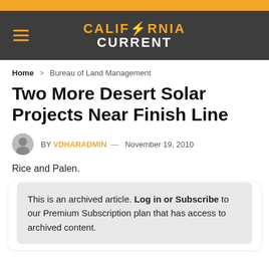CALIFORNIA CURRENT
Home > Bureau of Land Management
Two More Desert Solar Projects Near Finish Line
BY VDHARADMIN — November 19, 2010
Rice and Palen.
This is an archived article. Log in or Subscribe to our Premium Subscription plan that has access to archived content.